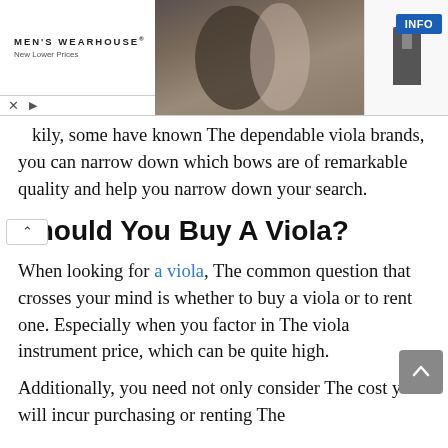[Figure (screenshot): Men's Wearhouse advertisement banner with a couple in formal wear and a man in a suit, with an INFO button]
...kily, some have known The dependable viola brands, you can narrow down which bows are of remarkable quality and help you narrow down your search.
Should You Buy A Viola?
When looking for a viola, The common question that crosses your mind is whether to buy a viola or to rent one. Especially when you factor in The viola instrument price, which can be quite high.
Additionally, you need not only consider The cost you will incur purchasing or renting The